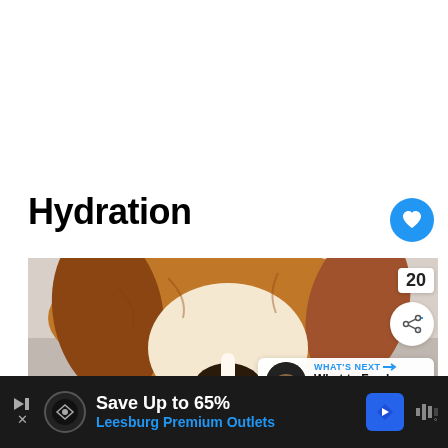Hydration
[Figure (photo): A beagle dog drinking from a glass bowl, close-up shot showing the dog's head lowered into the bowl]
WHAT'S NEXT → What to Feed a Sick Dog...
Save Up to 65% Leesburg Premium Outlets